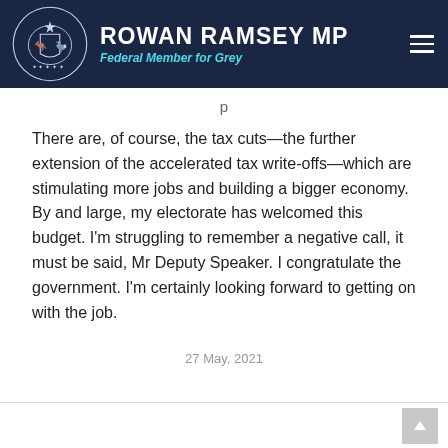ROWAN RAMSEY MP — Federal Member for Grey
p
There are, of course, the tax cuts—the further extension of the accelerated tax write-offs—which are stimulating more jobs and building a bigger economy. By and large, my electorate has welcomed this budget. I'm struggling to remember a negative call, it must be said, Mr Deputy Speaker. I congratulate the government. I'm certainly looking forward to getting on with the job.
27 May, 2021